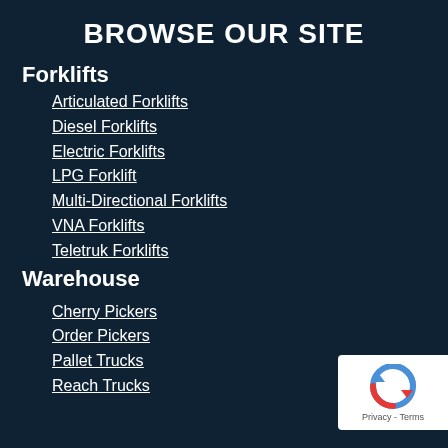BROWSE OUR SITE
Forklifts
Articulated Forklifts
Diesel Forklifts
Electric Forklifts
LPG Forklift
Multi-Directional Forklifts
VNA Forklifts
Teletruk Forklifts
Warehouse
Cherry Pickers
Order Pickers
Pallet Trucks
Reach Trucks